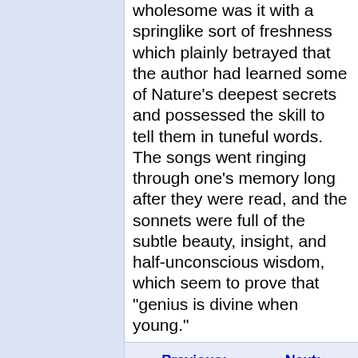wholesome was it with a springlike sort of freshness which plainly betrayed that the author had learned some of Nature's deepest secrets and possessed the skill to tell them in tuneful words. The songs went ringing through one's memory long after they were read, and the sonnets were full of the subtle beauty, insight, and half-unconscious wisdom, which seem to prove that "genius is divine when young."
Previous:    Next: